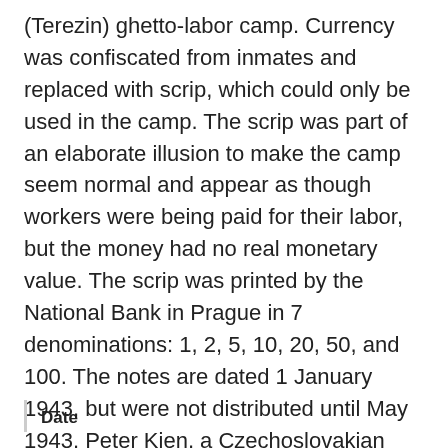(Terezin) ghetto-labor camp. Currency was confiscated from inmates and replaced with scrip, which could only be used in the camp. The scrip was part of an elaborate illusion to make the camp seem normal and appear as though workers were being paid for their labor, but the money had no real monetary value. The scrip was printed by the National Bank in Prague in 7 denominations: 1, 2, 5, 10, 20, 50, and 100. The notes are dated 1 January 1943, but were not distributed until May 1943. Peter Kien, a Czechoslovakian poet, artist, and inmate of Theresienstadt designed the notes, but his original design was rejected by SS General Reinhard Heydrich. He was ordered to make Moses appear more stereotypically Semitic in appearance and to arrange Moses's hand so that it is covering one of the commandments.
Date